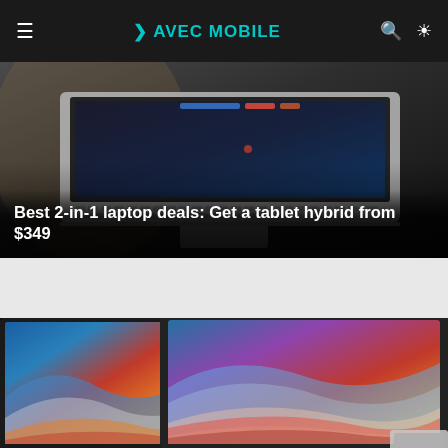≡  ❯ AVEC MOBILE  🔍  ☀
[Figure (photo): Laptop computer keyboard close-up photo, dark background, with article title overlay: 'Best 2-in-1 laptop deals: Get a tablet hybrid from $349']
Best 2-in-1 laptop deals: Get a tablet hybrid from $349
[Figure (photo): Two Apple MacBook laptops side-by-side with macOS Big Sur colorful wave wallpaper (blue, purple, orange gradient), dark bezel, partial view of Mac mini at bottom right]